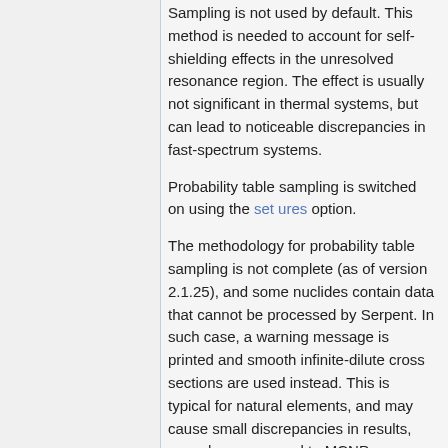Sampling is not used by default. This method is needed to account for self-shielding effects in the unresolved resonance region. The effect is usually not significant in thermal systems, but can lead to noticeable discrepancies in fast-spectrum systems.
Probability table sampling is switched on using the set ures option.
The methodology for probability table sampling is not complete (as of version 2.1.25), and some nuclides contain data that cannot be processed by Serpent. In such case, a warning message is printed and smooth infinite-dilute cross sections are used instead. This is typical for natural elements, and may cause small discrepancies in results, e.g. when compared to MCNP.